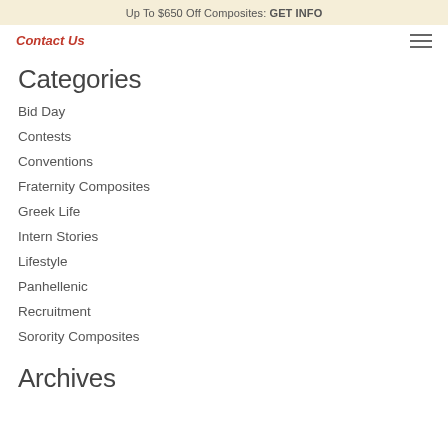Up To $650 Off Composites: GET INFO
Contact Us
Categories
Bid Day
Contests
Conventions
Fraternity Composites
Greek Life
Intern Stories
Lifestyle
Panhellenic
Recruitment
Sorority Composites
Archives